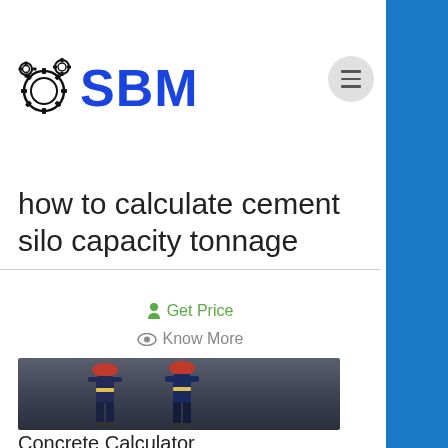SBM
how to calculate cement silo capacity tonnage
Get Price
Know More
[Figure (photo): Two workers in hard hats and safety gear standing in front of industrial equipment]
Concrete Calculator